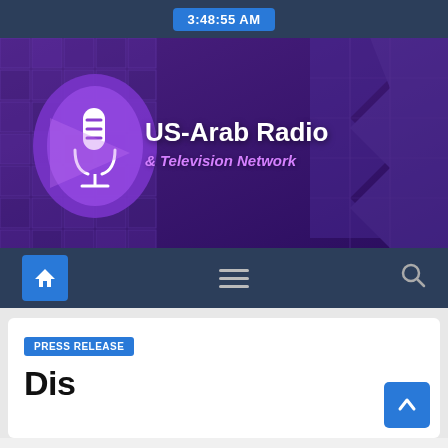3:48:55 AM
[Figure (logo): US-Arab Radio & Television Network banner with microphone logo on purple background with building grid pattern]
Navigation bar with home icon, menu icon, and search icon
PRESS RELEASE
Dis...